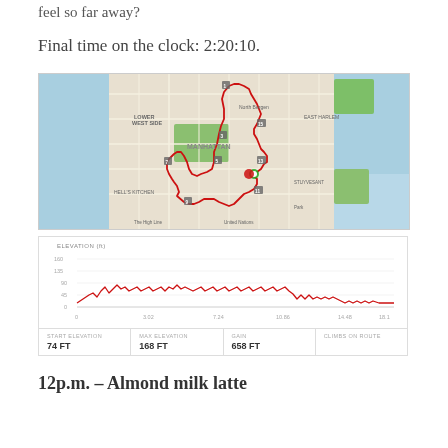feel so far away?
Final time on the clock: 2:20:10.
[Figure (map): A map of Manhattan showing a running route traced in red, starting and ending near Midtown/Central Park area, with multiple mile markers shown as small shield icons.]
[Figure (area-chart): Elevation chart showing elevation in feet over approximately 18 miles. The line is red and jagged, showing elevation ranging from roughly 0 to 160 ft. Below the chart are stats: START ELEVATION 74 FT, MAX ELEVATION 168 FT, GAIN 658 FT, CLIMBS ON ROUTE.]
12p.m. – Almond milk latte